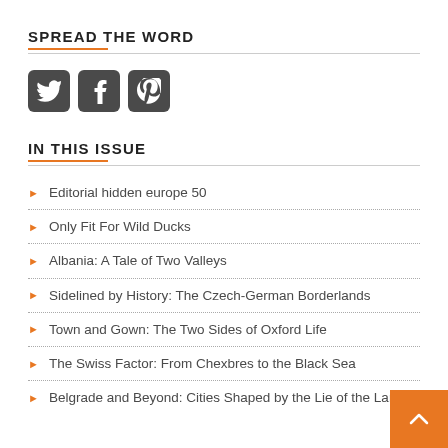SPREAD THE WORD
[Figure (illustration): Three social media icon buttons: Twitter (bird), Facebook (f), Pinterest (P), dark rounded-square style]
IN THIS ISSUE
Editorial hidden europe 50
Only Fit For Wild Ducks
Albania: A Tale of Two Valleys
Sidelined by History: The Czech-German Borderlands
Town and Gown: The Two Sides of Oxford Life
The Swiss Factor: From Chexbres to the Black Sea
Belgrade and Beyond: Cities Shaped by the Lie of the Land